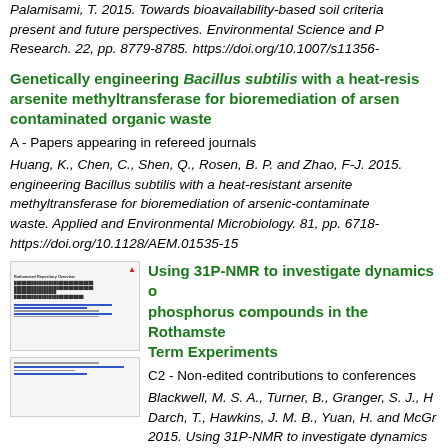Palamisami, T. 2015. Towards bioavailability-based soil criteria present and future perspectives. Environmental Science and Pollution Research. 22, pp. 8779-8785. https://doi.org/10.1007/s11356-
Genetically engineering Bacillus subtilis with a heat-resistant arsenite methyltransferase for bioremediation of arsenic-contaminated organic waste
A - Papers appearing in refereed journals
Huang, K., Chen, C., Shen, Q., Rosen, B. P. and Zhao, F-J. 2015. Genetically engineering Bacillus subtilis with a heat-resistant arsenite methyltransferase for bioremediation of arsenic-contaminated waste. Applied and Environmental Microbiology. 81, pp. 6718- https://doi.org/10.1128/AEM.01535-15
[Figure (screenshot): Thumbnail image of a document page with blue underline elements and small text]
Using 31P-NMR to investigate dynamics of phosphorus compounds in the Rothamsted Long-Term Experiments
C2 - Non-edited contributions to conferences
Blackwell, M. S. A., Turner, B., Granger, S. J., H. Darch, T., Hawkins, J. M. B., Yuan, H. and McGr... 2015. Using 31P-NMR to investigate dynamics...
[Figure (screenshot): Second thumbnail image of a document page]